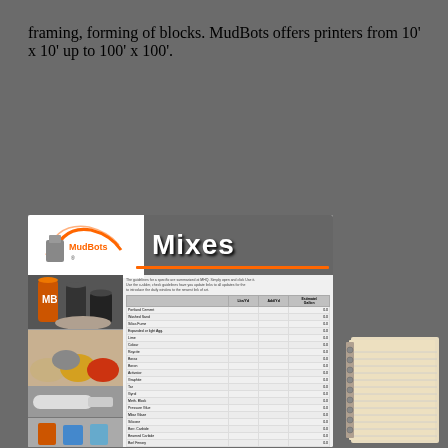framing, forming of blocks. MudBots offers printers from 10' x 10' up to 100' x 100'.
[Figure (photo): MudBots Mixes product card showing logo, 'Mixes' title, photos of mix materials and a detailed ingredient table listing various components]
[Figure (photo): Spiral-bound notebook with lined pages, partially visible on right side of page]